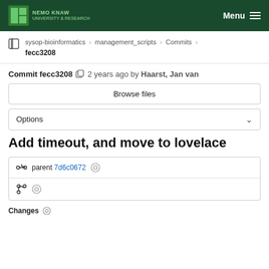NEMO KNAW UNIVERSITY & RESEARCH  Menu
sysop-bioinformatics > management_scripts > Commits > fecc3208
Commit fecc3208  2 years ago by Haarst, Jan van
Browse files
Options
Add timeout, and move to lovelace
parent 7d6c0672
Changes